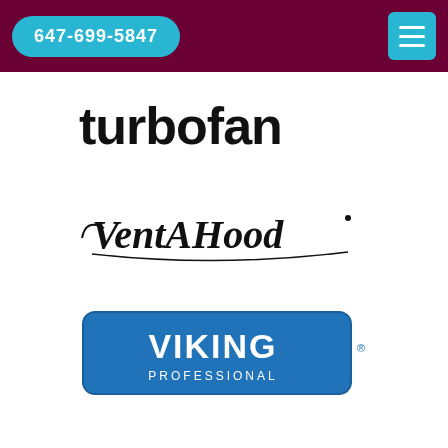647-699-5847
[Figure (logo): Turbofan brand logo in bold black text]
[Figure (logo): Vent-A-Hood brand logo in cursive/script black text]
[Figure (logo): Viking Professional brand logo - blue rounded rectangle with white text VIKING PROFESSIONAL]
[Figure (logo): Voltas brand logo in large bold blue text]